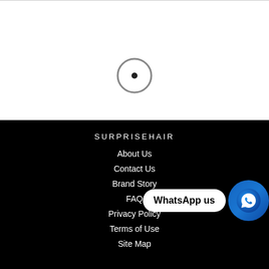[Figure (other): Loading spinner icon - circular outline with a dot in the center, gray color]
SURPRISEHAIR
About Us
Contact Us
Brand Story
FAQ
Privacy Policy
Terms of Use
Site Map
[Figure (other): WhatsApp us widget with white speech bubble label and blue circular WhatsApp icon button]